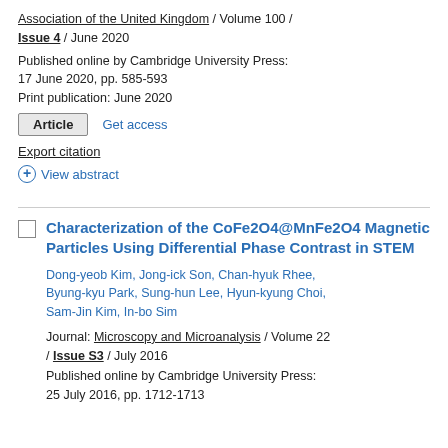Association of the United Kingdom / Volume 100 / Issue 4 / June 2020
Published online by Cambridge University Press: 17 June 2020, pp. 585-593
Print publication: June 2020
Article   Get access
Export citation
+ View abstract
Characterization of the CoFe2O4@MnFe2O4 Magnetic Particles Using Differential Phase Contrast in STEM
Dong-yeob Kim, Jong-ick Son, Chan-hyuk Rhee, Byung-kyu Park, Sung-hun Lee, Hyun-kyung Choi, Sam-Jin Kim, In-bo Sim
Journal: Microscopy and Microanalysis / Volume 22 / Issue S3 / July 2016
Published online by Cambridge University Press: 25 July 2016, pp. 1712-1713